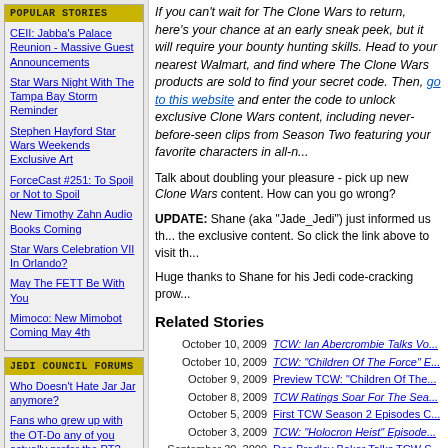POPULAR STORIES
CEII: Jabba's Palace Reunion - Massive Guest Announcements
Star Wars Night With The Tampa Bay Storm Reminder
Stephen Hayford Star Wars Weekends Exclusive Art
ForceCast #251: To Spoil or Not to Spoil
New Timothy Zahn Audio Books Coming
Star Wars Celebration VII In Orlando?
May The FETT Be With You
Mimoco: New Mimobot Coming May 4th
JEDI COUNCIL FORUMS
Who Doesn't Hate Jar Jar anymore?
Fans who grew up with the OT-Do any of you actually prefer the PT?
Should darth maul have died?
What plotline, character or...
If you can't wait for The Clone Wars to return, here's your chance at an early sneak peek, but it will require your bounty hunting skills. Head to your nearest Walmart, and find where The Clone Wars products are sold to find your secret code. Then, go to this website and enter the code to unlock exclusive Clone Wars content, including never-before-seen clips from Season Two featuring your favorite characters in all-n...
Talk about doubling your pleasure - pick up new Clone Wars content. How can you go wrong?
UPDATE: Shane (aka "Jade_Jedi") just informed us that the exclusive content. So click the link above to visit th...
Huge thanks to Shane for his Jedi code-cracking prow...
Related Stories
October 10, 2009 - TCW: Ian Abercrombie Talks Vo...
October 10, 2009 - TCW: "Children Of The Force" E...
October 9, 2009 - Preview TCW: "Children Of The...
October 8, 2009 - TCW Ratings Soar For The Sea...
October 5, 2009 - First TCW Season 2 Episodes C...
October 3, 2009 - TCW: "Holocron Heist" Episode...
September 30, 2009 - Dee Bradley Baker Talks TCW S...
September 29, 2009 - The Clone Wars Press Junket C...
September 29, 2009 - Begin The Clone Wars Season 2...
September 29, 2009 - When Will Season 2 Of TCW C...
September 27, 2009 - Fans Also TCW GO B...